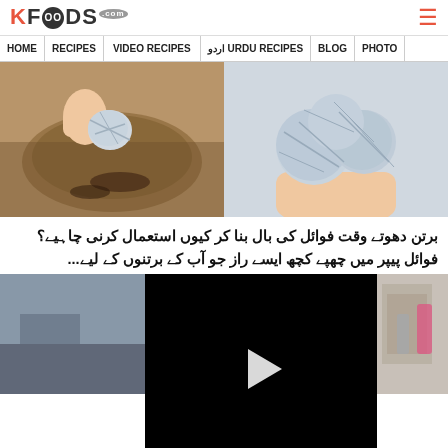KFOODS.com
HOME | RECIPES | VIDEO RECIPES | URDU RECIPES اردو | BLOG | PHOTO
[Figure (photo): Left: Hand scrubbing a burnt pan with crumpled aluminum foil. Right: Hand holding crumpled aluminum foil balls.]
برتن دھوتے وقت فوائل کی بال بنا کر کیوں استعمال کرنی چاہیے؟ فوائل پیپر میں چھپے کچھ ایسے راز جو آب کے برتنوں کے لیے...
[Figure (screenshot): Video player with black background and white play button triangle in center, overlaid on thumbnail images of related content.]